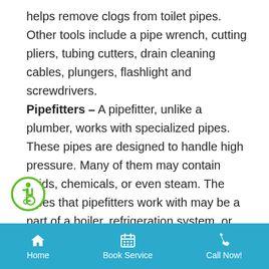helps remove clogs from toilet pipes. Other tools include a pipe wrench, cutting pliers, tubing cutters, drain cleaning cables, plungers, flashlight and screwdrivers.

Pipefitters – A pipefitter, unlike a plumber, works with specialized pipes. These pipes are designed to handle high pressure. Many of them may contain acids, chemicals, or even steam. The pipes that pipefitters work with may be a part of a boiler, refrigeration system, or an HVAC system. Most pipefitters work in manufacturing or industrial set-ups that have an orate network of pipes. They are taught to read prints of buildings so as to easily locate the
[Figure (illustration): Accessibility icon — wheelchair user symbol in a green circle]
Home   Book Service   Call Now!